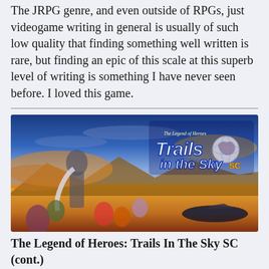The JRPG genre, and even outside of RPGs, just videogame writing in general is usually of such low quality that finding something well written is rare, but finding an epic of this scale at this superb level of writing is something I have never seen before. I loved this game.
[Figure (photo): Cover art for 'The Legend of Heroes: Trails in the Sky SC' showing anime-style characters in an orange/blue sky background with the game logo in the upper right.]
The Legend of Heroes: Trails In The Sky SC (cont.)